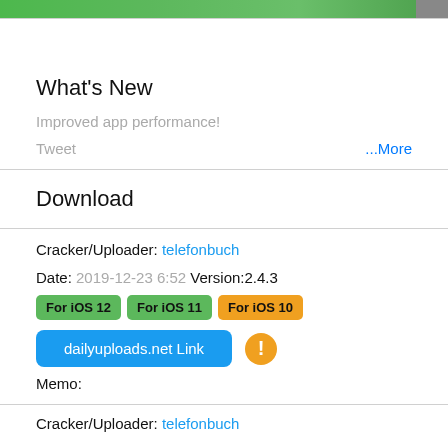[Figure (photo): Green banner image at top of page with partial image visible on the right]
What's New
Improved app performance!
Tweet
...More
Download
Cracker/Uploader: telefonbuch
Date: 2019-12-23 6:52   Version:2.4.3
For iOS 12   For iOS 11   For iOS 10
dailyuploads.net Link
Memo:
Cracker/Uploader: telefonbuch